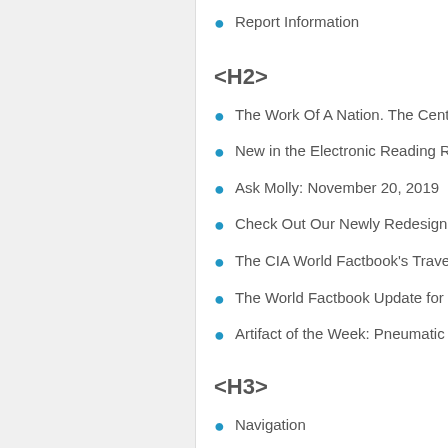Report Information
<H2>
The Work Of A Nation. The Center of In
New in the Electronic Reading Room
Ask Molly: November 20, 2019
Check Out Our Newly Redesigned "Spy
The CIA World Factbook's Travel Facts
The World Factbook Update for Decem
Artifact of the Week: Pneumatic Tube C
<H3>
Navigation
Connect With CIA
ABOUT CIA
RESOURCES
Work For CIA
About CIA
Careers & Internships